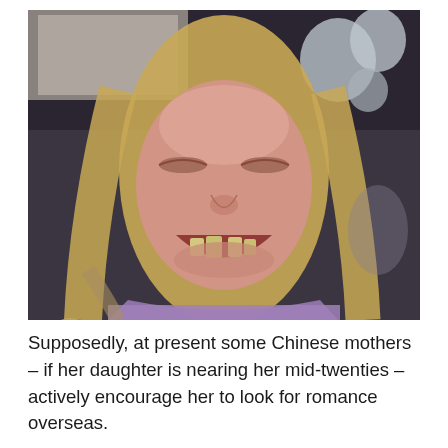[Figure (photo): Close-up photo of a person with blonde hair, eyes nearly closed, mouth open showing teeth, wearing a purple fuzzy scarf/collar. Balloons visible in background.]
Supposedly, at present some Chinese mothers – if her daughter is nearing her mid-twenties – actively encourage her to look for romance overseas.